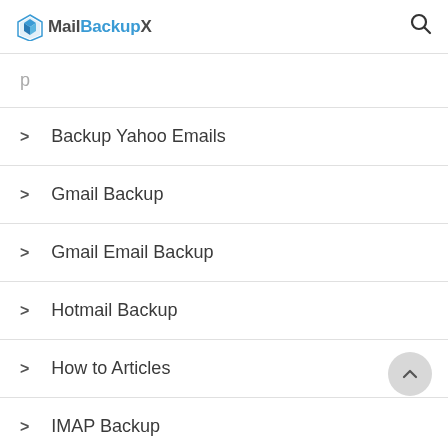MailBackupX
> Backup Yahoo Emails
> Gmail Backup
> Gmail Email Backup
> Hotmail Backup
> How to Articles
> IMAP Backup
> Imap Email Backup